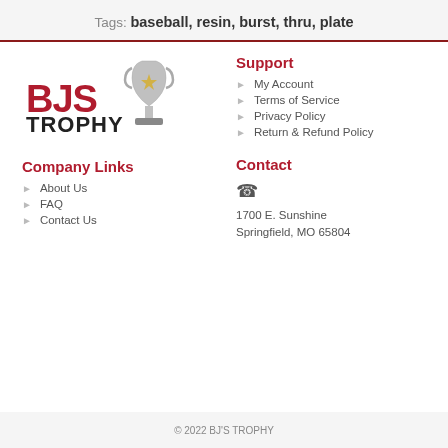Tags: baseball, resin, burst, thru, plate
[Figure (logo): BJS Trophy logo with trophy cup icon]
Support
My Account
Terms of Service
Privacy Policy
Return & Refund Policy
Company Links
About Us
FAQ
Contact Us
Contact
1700 E. Sunshine
Springfield, MO 65804
© 2022 BJ'S TROPHY